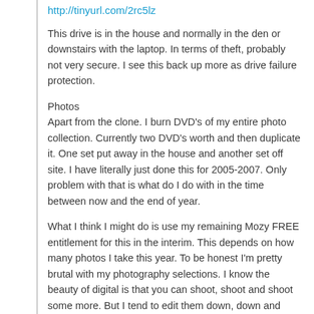http://tinyurl.com/2rc5lz
This drive is in the house and normally in the den or downstairs with the laptop. In terms of theft, probably not very secure. I see this back up more as drive failure protection.
Photos
Apart from the clone. I burn DVD's of my entire photo collection. Currently two DVD's worth and then duplicate it. One set put away in the house and another set off site. I have literally just done this for 2005-2007. Only problem with that is what do I do with in the time between now and the end of year.
What I think I might do is use my remaining Mozy FREE entitlement for this in the interim. This depends on how many photos I take this year. To be honest I'm pretty brutal with my photography selections. I know the beauty of digital is that you can shoot, shoot and shoot some more. But I tend to edit them down, down and